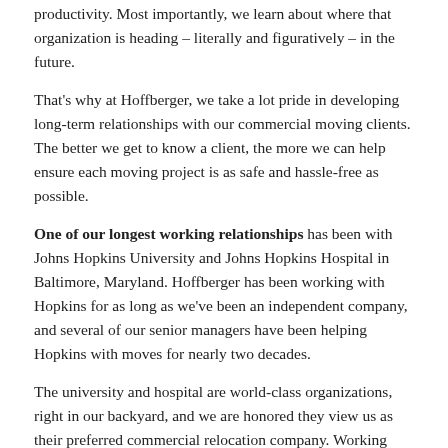productivity. Most importantly, we learn about where that organization is heading – literally and figuratively – in the future.
That's why at Hoffberger, we take a lot pride in developing long-term relationships with our commercial moving clients. The better we get to know a client, the more we can help ensure each moving project is as safe and hassle-free as possible.
One of our longest working relationships has been with Johns Hopkins University and Johns Hopkins Hospital in Baltimore, Maryland. Hoffberger has been working with Hopkins for as long as we've been an independent company, and several of our senior managers have been helping Hopkins with moves for nearly two decades.
The university and hospital are world-class organizations, right in our backyard, and we are honored they view us as their preferred commercial relocation company. Working with them has also sharpened the expertise we can bring to moving clients in the healthcare, education and life sciences fields.
Some examples of moving projects we've completed for